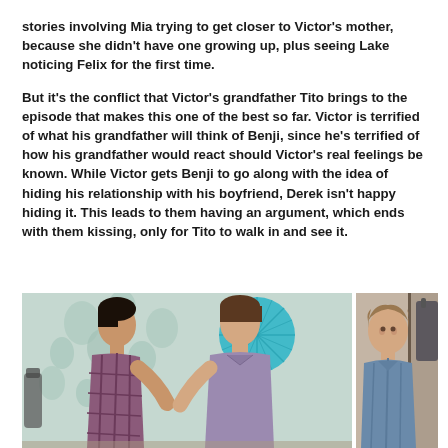stories involving Mia trying to get closer to Victor's mother, because she didn't have one growing up, plus seeing Lake noticing Felix for the first time.
But it's the conflict that Victor's grandfather Tito brings to the episode that makes this one of the best so far.  Victor is terrified of what his grandfather will think of Benji, since he's terrified of how his grandfather would react should Victor's real feelings be known.  While Victor gets Benji to go along with the idea of hiding his relationship with his boyfriend, Derek isn't happy hiding it.  This leads to them having an argument, which ends with them kissing, only for Tito to walk in and see it.
[Figure (photo): Two young men facing each other in a room with blue floral wallpaper and a teal paper fan decoration, with a third young man visible in a separate panel on the right side wearing a denim shirt and looking to the side.]